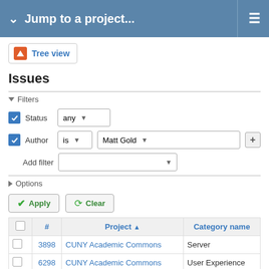Jump to a project...
Tree view
Issues
Filters
Status  any
Author  is  Matt Gold
Add filter
Options
Apply   Clear
|  | # | Project ↑ | Category name |
| --- | --- | --- | --- |
|  | 3898 | CUNY Academic Commons | Server |
|  | 6298 | CUNY Academic Commons | User Experience |